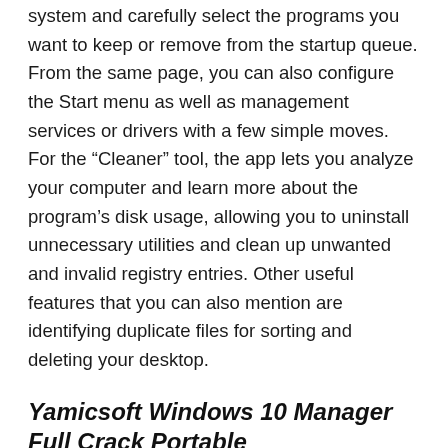system and carefully select the programs you want to keep or remove from the startup queue. From the same page, you can also configure the Start menu as well as management services or drivers with a few simple moves. For the “Cleaner” tool, the app lets you analyze your computer and learn more about the program’s disk usage, allowing you to uninstall unnecessary utilities and clean up unwanted and invalid registry entries. Other useful features that you can also mention are identifying duplicate files for sorting and deleting your desktop.
Yamicsoft Windows 10 Manager Full Crack Portable
One component that can be appreciated is “customization”. With it, you can almost completely